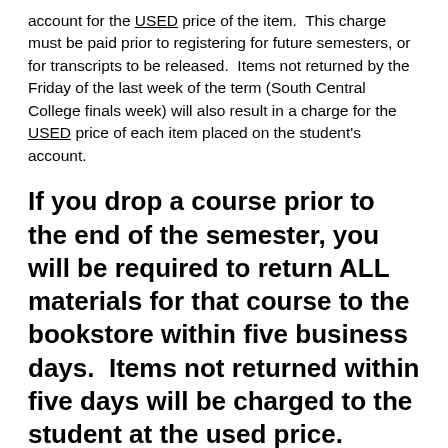account for the USED price of the item.  This charge must be paid prior to registering for future semesters, or for transcripts to be released.  Items not returned by the Friday of the last week of the term (South Central College finals week) will also result in a charge for the USED price of each item placed on the student's account.
If you drop a course prior to the end of the semester, you will be required to return ALL materials for that course to the bookstore within five business days.  Items not returned within five days will be charged to the student at the used price.
Items we do NOT require back at the end of the